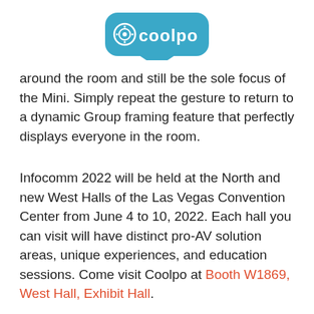[Figure (logo): Coolpo logo — teal/blue rounded rectangle with white text 'coolpo' and a circular camera icon]
around the room and still be the sole focus of the Mini. Simply repeat the gesture to return to a dynamic Group framing feature that perfectly displays everyone in the room.
Infocomm 2022 will be held at the North and new West Halls of the Las Vegas Convention Center from June 4 to 10, 2022. Each hall you can visit will have distinct pro-AV solution areas, unique experiences, and education sessions. Come visit Coolpo at Booth W1869, West Hall, Exhibit Hall.